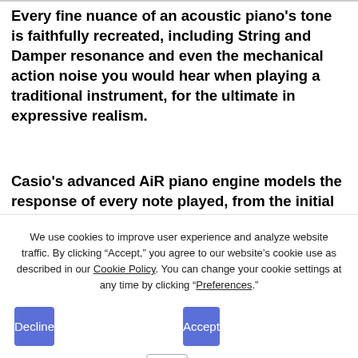Every fine nuance of an acoustic piano's tone is faithfully recreated, including String and Damper resonance and even the mechanical action noise you would hear when playing a traditional instrument, for the ultimate in expressive realism.
Casio's advanced AiR piano engine models the response of every note played, from the initial instant of a key press to its
We use cookies to improve user experience and analyze website traffic. By clicking “Accept,” you agree to our website’s cookie use as described in our Cookie Policy. You can change your cookie settings at any time by clicking “Preferences.”
Decline
Accept
Preferences